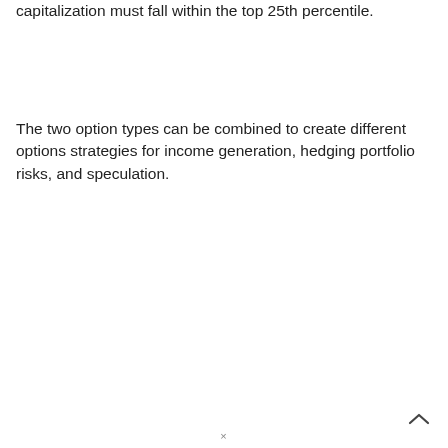capitalization must fall within the top 25th percentile.
The two option types can be combined to create different options strategies for income generation, hedging portfolio risks, and speculation.